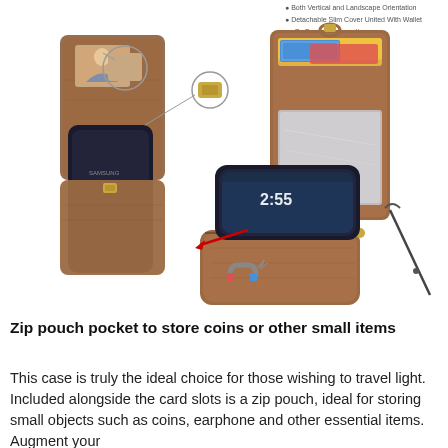[Figure (photo): Product photo collage showing a brown leather wallet phone case for Samsung Galaxy S8/S9. Top left shows the case open with a photo slot and magnetic clasp detail. Center-right shows the wallet open with card slots holding cards and a mirror. Bottom center shows the phone detached from the wallet portion with a red arrow pointing to the magnetic connection point, and a wrist strap to the right. Bottom left shows a magnet icon illustrating the magnetic attachment feature.]
Zip pouch pocket to store coins or other small items
This case is truly the ideal choice for those wishing to travel light. Included alongside the card slots is a zip pouch, ideal for storing small objects such as coins, earphone and other essential items. Augment your